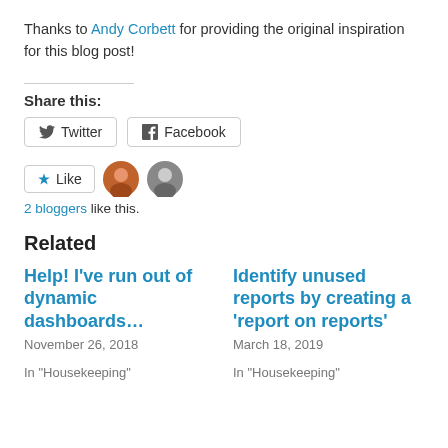Thanks to Andy Corbett for providing the original inspiration for this blog post!
Share this:
Twitter  Facebook (share buttons)
Like  2 bloggers like this.
Related
Help! I've run out of dynamic dashboards…
November 26, 2018
In "Housekeeping"
Identify unused reports by creating a 'report on reports'
March 18, 2019
In "Housekeeping"